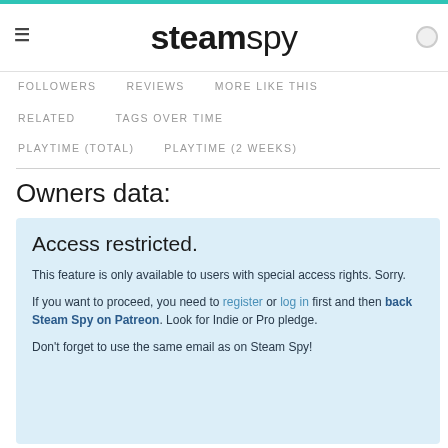steamspy
FOLLOWERS   REVIEWS   MORE LIKE THIS
RELATED   TAGS OVER TIME
PLAYTIME (TOTAL)   PLAYTIME (2 WEEKS)
Owners data:
Access restricted.
This feature is only available to users with special access rights. Sorry.
If you want to proceed, you need to register or log in first and then back Steam Spy on Patreon. Look for Indie or Pro pledge.
Don't forget to use the same email as on Steam Spy!